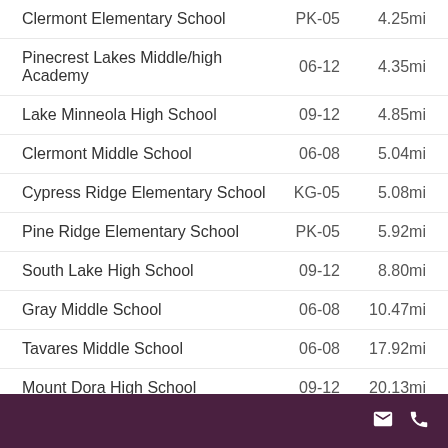| School | Grades | Distance |
| --- | --- | --- |
| Clermont Elementary School | PK-05 | 4.25mi |
| Pinecrest Lakes Middle/high Academy | 06-12 | 4.35mi |
| Lake Minneola High School | 09-12 | 4.85mi |
| Clermont Middle School | 06-08 | 5.04mi |
| Cypress Ridge Elementary School | KG-05 | 5.08mi |
| Pine Ridge Elementary School | PK-05 | 5.92mi |
| South Lake High School | 09-12 | 8.80mi |
| Gray Middle School | 06-08 | 10.47mi |
| Tavares Middle School | 06-08 | 17.92mi |
| Mount Dora High School | 09-12 | 20.13mi |
Contact icons (email, phone)